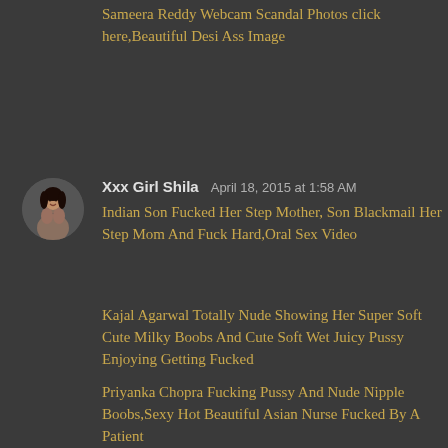Sameera Reddy Webcam Scandal Photos click here,Beautiful Desi Ass Image
Xxx Girl Shila  April 18, 2015 at 1:58 AM
Indian Son Fucked Her Step Mother, Son Blackmail Her Step Mom And Fuck Hard,Oral Sex Video
Kajal Agarwal Totally Nude Showing Her Super Soft Cute Milky Boobs And Cute Soft Wet Juicy Pussy Enjoying Getting Fucked
Priyanka Chopra Fucking Pussy And Nude Nipple Boobs,Sexy Hot Beautiful Asian Nurse Fucked By A Patient
Exclusive Pics Of Sunny Leone In A